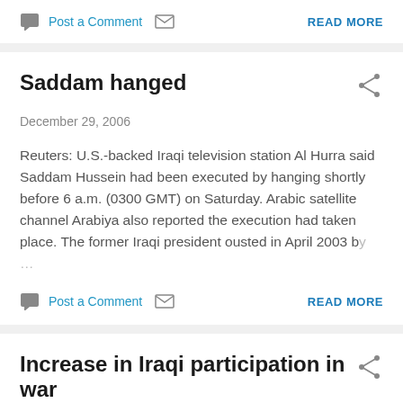Post a Comment  READ MORE
Saddam hanged
December 29, 2006
Reuters: U.S.-backed Iraqi television station Al Hurra said Saddam Hussein had been executed by hanging shortly before 6 a.m. (0300 GMT) on Saturday. Arabic satellite channel Arabiya also reported the execution had taken place. The former Iraqi president ousted in April 2003 by …
Post a Comment  READ MORE
Increase in Iraqi participation in war